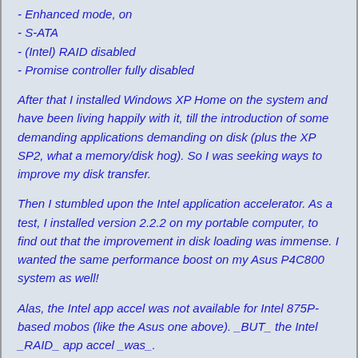- Enhanced mode, on
- S-ATA
- (Intel) RAID disabled
- Promise controller fully disabled
After that I installed Windows XP Home on the system and have been living happily with it, till the introduction of some demanding applications demanding on disk (plus the XP SP2, what a memory/disk hog). So I was seeking ways to improve my disk transfer.
Then I stumbled upon the Intel application accelerator. As a test, I installed version 2.2.2 on my portable computer, to find out that the improvement in disk loading was immense. I wanted the same performance boost on my Asus P4C800 system as well!
Alas, the Intel app accel was not available for Intel 875P-based mobos (like the Asus one above). _BUT_ the Intel _RAID_ app accel _was_.
Downloaded the thingie and tried to install it in XP. No go. It was complaining about "unsupported platform". A closer look indicated that in order for this to run, an Intel RAID BIOS should be operating.